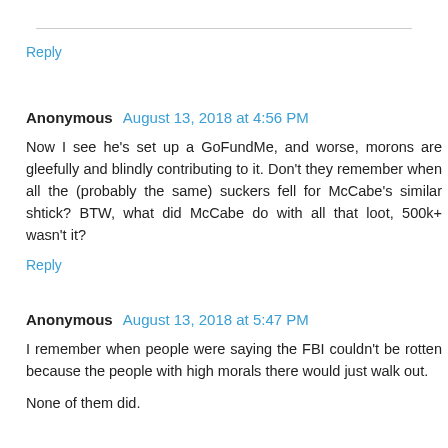Reply
Anonymous August 13, 2018 at 4:56 PM
Now I see he's set up a GoFundMe, and worse, morons are gleefully and blindly contributing to it. Don't they remember when all the (probably the same) suckers fell for McCabe's similar shtick? BTW, what did McCabe do with all that loot, 500k+ wasn't it?
Reply
Anonymous August 13, 2018 at 5:47 PM
I remember when people were saying the FBI couldn't be rotten because the people with high morals there would just walk out.
None of them did.